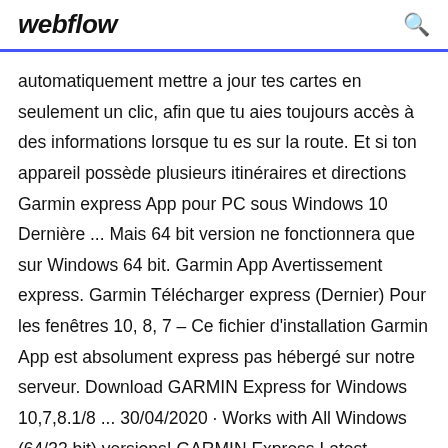webflow
automatiquement mettre a jour tes cartes en seulement un clic, afin que tu aies toujours accès à des informations lorsque tu es sur la route. Et si ton appareil possède plusieurs itinéraires et directions Garmin express App pour PC sous Windows 10 Dernière ... Mais 64 bit version ne fonctionnera que sur Windows 64 bit. Garmin App Avertissement express. Garmin Télécharger express (Dernier) Pour les fenêtres 10, 8, 7 – Ce fichier d'installation Garmin App est absolument express pas hébergé sur notre serveur. Download GARMIN Express for Windows 10,7,8.1/8 ... 30/04/2020 · Works with All Windows (64/32 bit) versions! GARMIN Express Latest Version! Fully compatible with